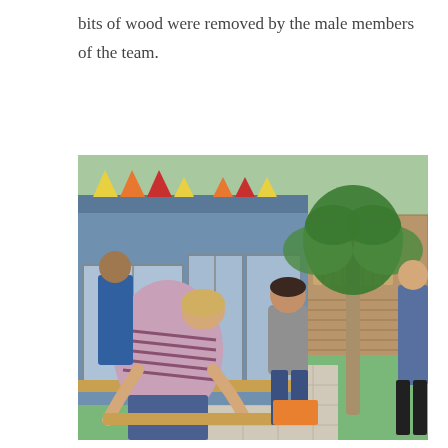bits of wood were removed by the male members of the team.
[Figure (photo): Outdoor scene showing people working alongside a blue-painted wooden structure with large windows and colourful bunting flags. A person in a striped shirt bends over a wooden beam in the foreground, another person in a grey shirt works near the windows in the middle, and a third person is partially visible on the right. A palm tree and garden fencing are visible in the background on a sunny day.]